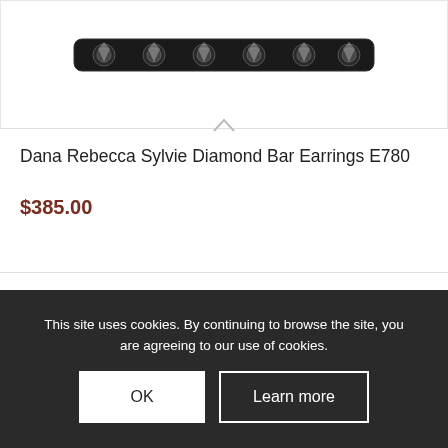[Figure (photo): Product photo of Dana Rebecca Sylvie Diamond Bar Earrings — a narrow horizontal bar earring with pavé diamonds, shown against a white background.]
Dana Rebecca Sylvie Diamond Bar Earrings E780
$385.00
Add to cart
Show Details
This site uses cookies. By continuing to browse the site, you are agreeing to our use of cookies.
OK
Learn more